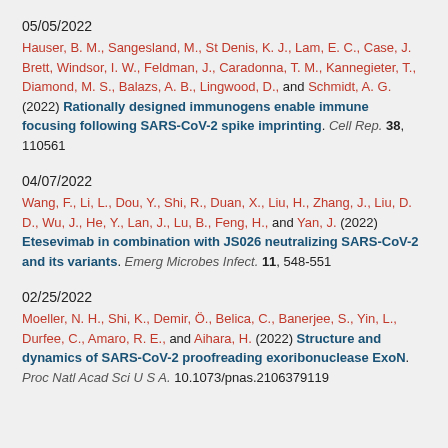05/05/2022
Hauser, B. M., Sangesland, M., St Denis, K. J., Lam, E. C., Case, J. Brett, Windsor, I. W., Feldman, J., Caradonna, T. M., Kannegieter, T., Diamond, M. S., Balazs, A. B., Lingwood, D., and Schmidt, A. G. (2022) Rationally designed immunogens enable immune focusing following SARS-CoV-2 spike imprinting. Cell Rep. 38, 110561
04/07/2022
Wang, F., Li, L., Dou, Y., Shi, R., Duan, X., Liu, H., Zhang, J., Liu, D. D., Wu, J., He, Y., Lan, J., Lu, B., Feng, H., and Yan, J. (2022) Etesevimab in combination with JS026 neutralizing SARS-CoV-2 and its variants. Emerg Microbes Infect. 11, 548-551
02/25/2022
Moeller, N. H., Shi, K., Demir, Ö., Belica, C., Banerjee, S., Yin, L., Durfee, C., Amaro, R. E., and Aihara, H. (2022) Structure and dynamics of SARS-CoV-2 proofreading exoribonuclease ExoN. Proc Natl Acad Sci U S A. 10.1073/pnas.2106379119